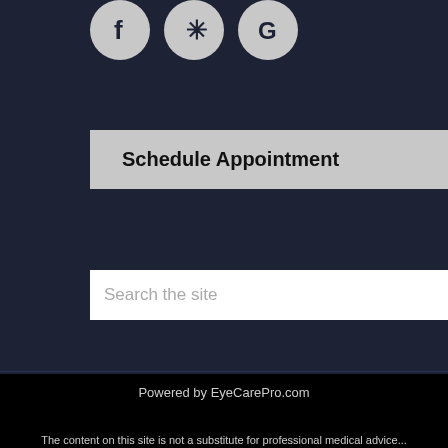[Figure (illustration): Three circular social media icons: Facebook (f), Yelp (*), and Google (G) on dark navy background]
Schedule Appointment
[Figure (screenshot): Search bar with placeholder text 'Search the site' and a microphone icon]
Shore Family Eyecare
136 Main Street
Manasquan, NJ 08736
Phone: 732-223-0202
https://www.lowvision-nj.com
Powered by EyeCarePro.com